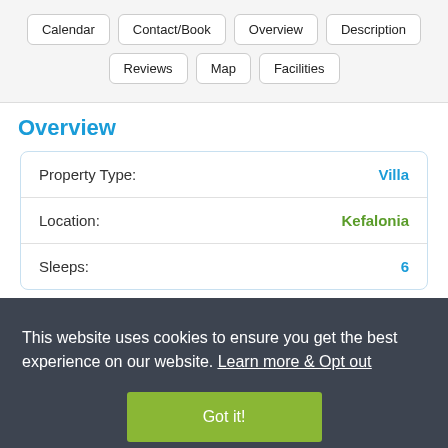Calendar | Contact/Book | Overview | Description | Reviews | Map | Facilities
Overview
| Property | Value |
| --- | --- |
| Property Type: | Villa |
| Location: | Kefalonia |
| Sleeps: | 6 |
This website uses cookies to ensure you get the best experience on our website. Learn more & Opt out
Got it!